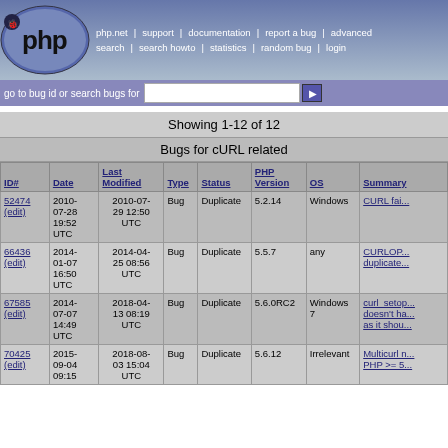[Figure (logo): PHP logo - oval blue shape with PHP text and bug graphic]
php.net | support | documentation | report a bug | advanced search | search howto | statistics | random bug | login
go to bug id or search bugs for [search input]
Showing 1-12 of 12
Bugs for cURL related
| ID# | Date | Last Modified | Type | Status | PHP Version | OS | Summary |
| --- | --- | --- | --- | --- | --- | --- | --- |
| 52474 (edit) | 2010-07-28 19:52 UTC | 2010-07-29 12:50 UTC | Bug | Duplicate | 5.2.14 | Windows | CURL fai... |
| 66436 (edit) | 2014-01-07 16:50 UTC | 2014-04-25 08:56 UTC | Bug | Duplicate | 5.5.7 | any | CURLOP... duplicate... |
| 67585 (edit) | 2014-07-07 14:49 UTC | 2018-04-13 08:19 UTC | Bug | Duplicate | 5.6.0RC2 | Windows 7 | curl_setop... doesn't ha... as it shou... |
| 70425 (edit) | 2015-09-04 09:15 UTC | 2018-08-03 15:04 UTC | Bug | Duplicate | 5.6.12 | Irrelevant | Multicurl n... PHP >= 5... |